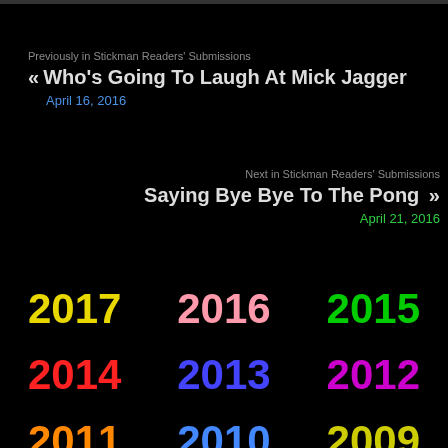Previously in Stickman Readers' Submissions
« Who's Going To Laugh At Mick Jagger
April 16, 2016
Next in Stickman Readers' Submissions
Saying Bye Bye To The Pong »
April 21, 2016
2017
2016
2015
2014
2013
2012
2011
2010
2009